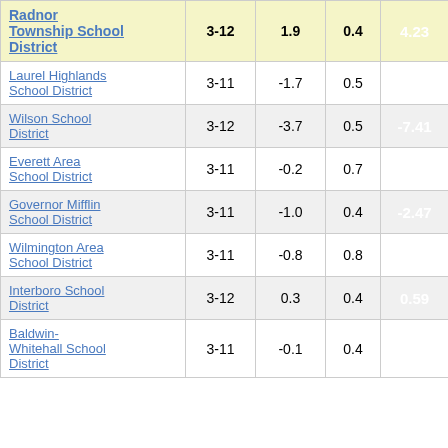| District | Grades | Col3 | Col4 | Score |
| --- | --- | --- | --- | --- |
| Radnor Township School District | 3-12 | 1.9 | 0.4 | 4.23 |
| Laurel Highlands School District | 3-11 | -1.7 | 0.5 | -3.29 |
| Wilson School District | 3-12 | -3.7 | 0.5 | -7.41 |
| Everett Area School District | 3-11 | -0.2 | 0.7 | -0.26 |
| Governor Mifflin School District | 3-11 | -1.0 | 0.4 | -2.47 |
| Wilmington Area School District | 3-11 | -0.8 | 0.8 | -0.91 |
| Interboro School District | 3-12 | 0.3 | 0.4 | 0.59 |
| Baldwin-Whitehall School District | 3-11 | -0.1 | 0.4 | -0.17 |